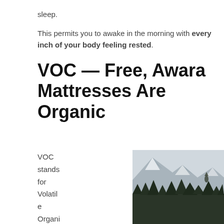sleep.
This permits you to awake in the morning with every inch of your body feeling rested.
VOC — Free, Awara Mattresses Are Organic
VOC stands for Volatile Organic c
[Figure (photo): Snowy mountain peaks with misty sky and dark evergreen forest trees in the foreground]